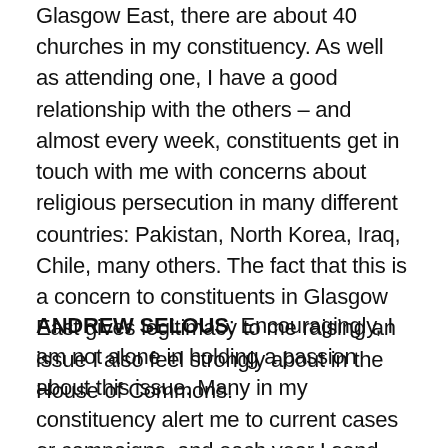Glasgow East, there are about 40 churches in my constituency. As well as attending one, I have a good relationship with the others – and almost every week, constituents get in touch with me with concerns about religious persecution in many different countries: Pakistan, North Korea, Iraq, Chile, many others. The fact that this is a concern to constituents in Glasgow East gives legitimacy to me raising an issue I also feel strongly about in the House of Commons.
ANDREW SELOUS: Encouragingly, I am not alone in holding a passion about this issue. Many in my constituency alert me to current cases or campaigns, and each year I send the World Watch List to every church in the constituency.